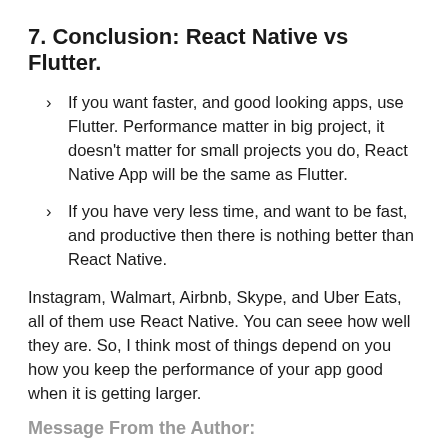7. Conclusion: React Native vs Flutter.
If you want faster, and good looking apps, use Flutter. Performance matter in big project, it doesn't matter for small projects you do, React Native App will be the same as Flutter.
If you have very less time, and want to be fast, and productive then there is nothing better than React Native.
Instagram, Walmart, Airbnb, Skype, and Uber Eats, all of them use React Native. You can seee how well they are. So, I think most of things depend on you how you keep the performance of your app good when it is getting larger.
Message From the Author:
If you liked or didn't like my comparison of React